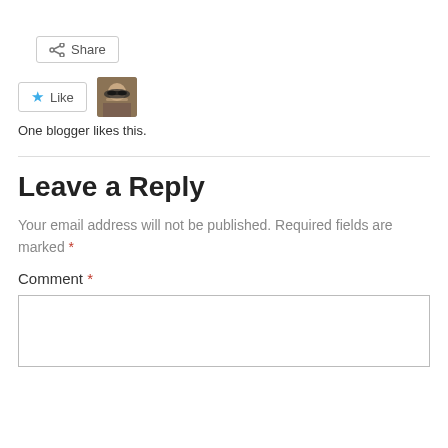[Figure (other): Share button with share icon]
[Figure (other): Like button with blue star icon and user avatar photo thumbnail]
One blogger likes this.
Leave a Reply
Your email address will not be published. Required fields are marked *
Comment *
[Figure (other): Empty comment text area input box]